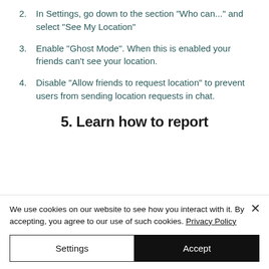2. In Settings, go down to the section "Who can..." and select "See My Location"
3. Enable "Ghost Mode". When this is enabled your friends can't see your location.
4. Disable "Allow friends to request location" to prevent users from sending location requests in chat.
5. Learn how to report
We use cookies on our website to see how you interact with it. By accepting, you agree to our use of such cookies. Privacy Policy